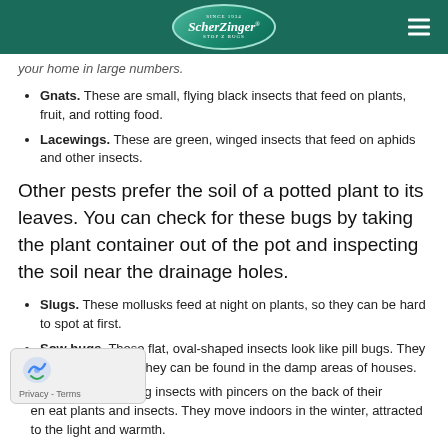ScherZinger - Stop Z Bugs logo and navigation
your home in large numbers.
Gnats. These are small, flying black insects that feed on plants, fruit, and rotting food.
Lacewings. These are green, winged insects that feed on aphids and other insects.
Other pests prefer the soil of a potted plant to its leaves. You can check for these bugs by taking the plant container out of the pot and inspecting the soil near the drainage holes.
Slugs. These mollusks feed at night on plants, so they can be hard to spot at first.
Sow bugs. These flat, oval-shaped insects look like pill bugs. They love moisture, so they can be found in the damp areas of houses.
[Earwigs]. These odd-looking insects with pincers on the back of their [body often] eat plants and insects. They move indoors in the winter, attracted to the light and warmth.